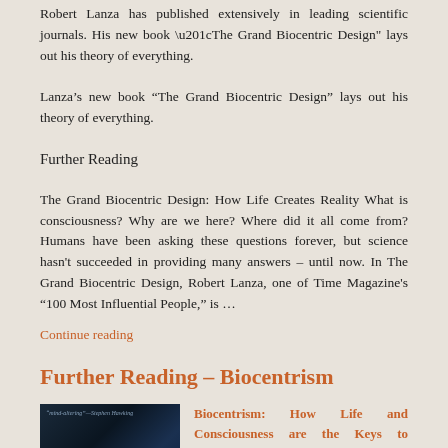Robert Lanza has published extensively in leading scientific journals. His new book “The Grand Biocentric Design” lays out his theory of everything.
Lanza’s new book “The Grand Biocentric Design” lays out his theory of everything.
Further Reading
The Grand Biocentric Design: How Life Creates Reality What is consciousness? Why are we here? Where did it all come from? Humans have been asking these questions forever, but science hasn’t succeeded in providing many answers – until now. In The Grand Biocentric Design, Robert Lanza, one of Time Magazine’s “100 Most Influential People,” is …
Continue reading
Further Reading – Biocentrism
[Figure (photo): Book cover image with dark blue/teal background]
Biocentrism: How Life and Consciousness are the Keys to Understanding the True Nature of the